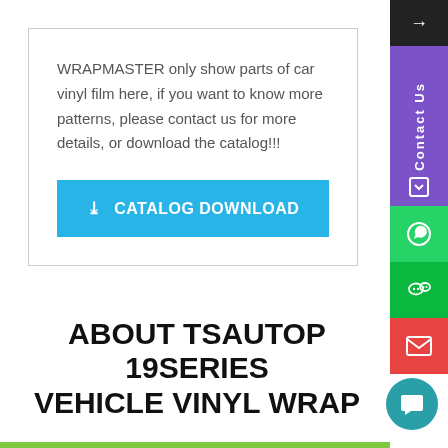WRAPMASTER only show parts of car vinyl film here, if you want to know more patterns, please contact us for more details, or download the catalog!!!
[Figure (other): Blue CATALOG DOWNLOAD button with download icon]
ABOUT TSAUTOP 19SERIES VEHICLE VINYL WRAP
[Figure (other): Right sidebar with navigation icons: arrow, Contact Us label with document icon, WhatsApp icon, WeChat icon, email icon. Teal chat button overlay.]